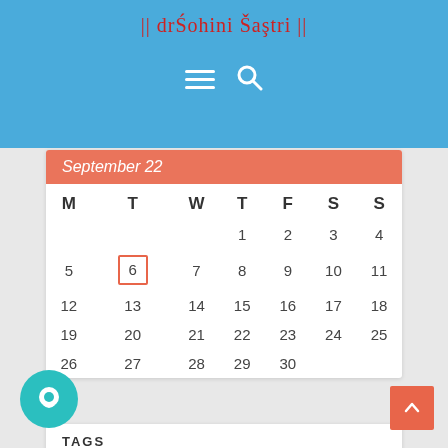|| dr Sohini Sastri ||
[Figure (screenshot): Navigation bar with hamburger menu icon and search icon on blue background]
September 22
| M | T | W | T | F | S | S |
| --- | --- | --- | --- | --- | --- | --- |
|  |  |  | 1 | 2 | 3 | 4 |
| 5 | 6 | 7 | 8 | 9 | 10 | 11 |
| 12 | 13 | 14 | 15 | 16 | 17 | 18 |
| 19 | 20 | 21 | 22 | 23 | 24 | 25 |
| 26 | 27 | 28 | 29 | 30 |  |  |
TAGS
astrologer
astrologer in delhi
astrologer in India
astrologer in Kolkata